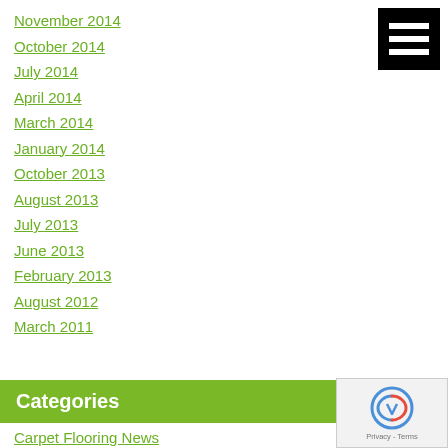[Figure (other): Black square menu/hamburger icon with three white horizontal bars]
November 2014
October 2014
July 2014
April 2014
March 2014
January 2014
October 2013
August 2013
July 2013
June 2013
February 2013
August 2012
March 2011
Categories
Carpet Flooring News
Case Study